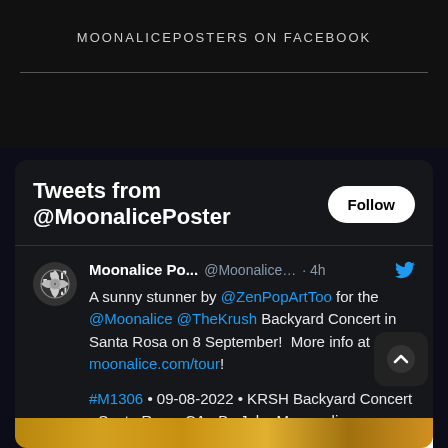MOONALICEPOSTERS ON FACEBOOK
Tweets from @MoonalicePoster
Moonalice Po... @Moonalice... · 4h
A sunny stunner by @ZenPopArtToo for the @Moonalice @TheKrush Backyard Concert in Santa Rosa on 8 September!  More info at moonalice.com/tour!

#M1306 • 09-08-2022 • KRSH Backyard Concert - Santa Rosa, CA - By John Mavroudis